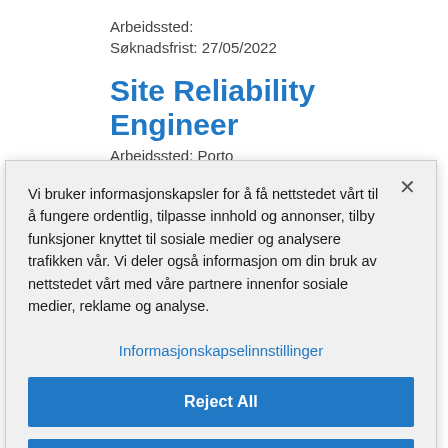Arbeidssted:
Søknadsfrist: 27/05/2022
Site Reliability Engineer
Arbeidssted: Porto
Vi bruker informasjonskapsler for å få nettstedet vårt til å fungere ordentlig, tilpasse innhold og annonser, tilby funksjoner knyttet til sosiale medier og analysere trafikken vår. Vi deler også informasjon om din bruk av nettstedet vårt med våre partnere innenfor sosiale medier, reklame og analyse.
Informasjonskapselinnstillinger
Reject All
Godta alle cookier